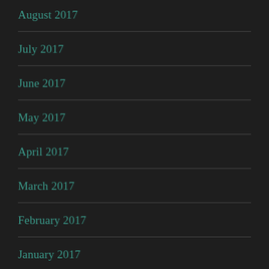August 2017
July 2017
June 2017
May 2017
April 2017
March 2017
February 2017
January 2017